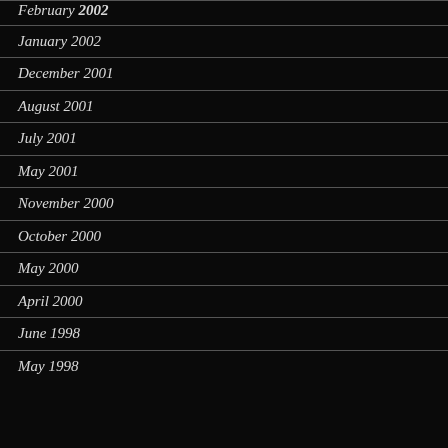February 2002
January 2002
December 2001
August 2001
July 2001
May 2001
November 2000
October 2000
May 2000
April 2000
June 1998
May 1998